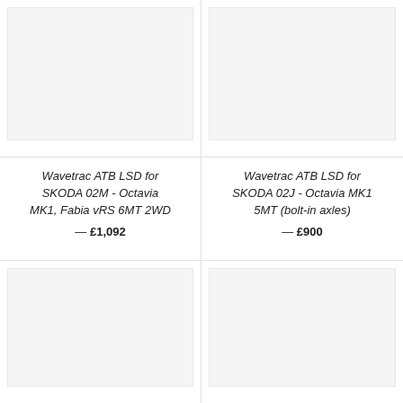[Figure (photo): Product image placeholder - top left, light gray background]
[Figure (photo): Product image placeholder - top right, light gray background]
Wavetrac ATB LSD for SKODA 02M - Octavia MK1, Fabia vRS 6MT 2WD — £1,092
Wavetrac ATB LSD for SKODA 02J - Octavia MK1 5MT (bolt-in axles) — £900
[Figure (photo): Product image placeholder - bottom left, light gray background]
[Figure (photo): Product image placeholder - bottom right, light gray background]